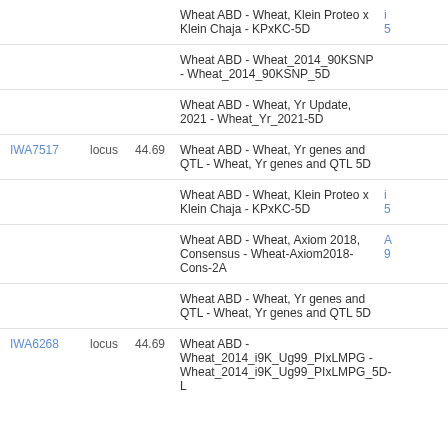| ID | Type | Position | Map Name | Extra |
| --- | --- | --- | --- | --- |
|  |  |  | Wheat ABD - Wheat, Klein Proteo x Klein Chaja - KPxKC-5D | i... 5... |
|  |  |  | Wheat ABD - Wheat_2014_90KSNP - Wheat_2014_90KSNP_5D |  |
|  |  |  | Wheat ABD - Wheat, Yr Update, 2021 - Wheat_Yr_2021-5D |  |
| IWA7517 | locus | 44.69 | Wheat ABD - Wheat, Yr genes and QTL - Wheat, Yr genes and QTL 5D |  |
|  |  |  | Wheat ABD - Wheat, Klein Proteo x Klein Chaja - KPxKC-5D | i... 5... |
|  |  |  | Wheat ABD - Wheat, Axiom 2018, Consensus - Wheat-Axiom2018-Cons-2A | A... 9... |
|  |  |  | Wheat ABD - Wheat, Yr genes and QTL - Wheat, Yr genes and QTL 5D |  |
| IWA6268 | locus | 44.69 | Wheat ABD - Wheat_2014_i9K_Ug99_PIxLMPG - Wheat_2014_i9K_Ug99_PIxLMPG_5D-L |  |